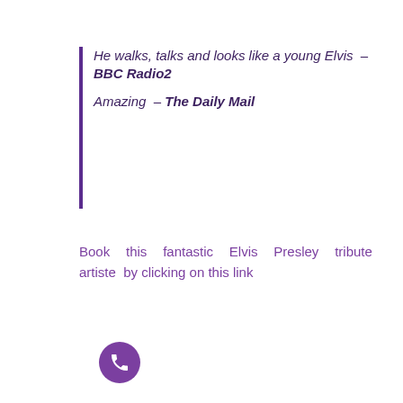He walks, talks and looks like a young Elvis – BBC Radio2
Amazing – The Daily Mail
Book this fantastic Elvis Presley tribute artiste by clicking on this link
[Figure (screenshot): YouTube video thumbnail showing Mark as Elvis - All Shook Up performance, with purple Artiste logo, play button, and a phone call button overlay]